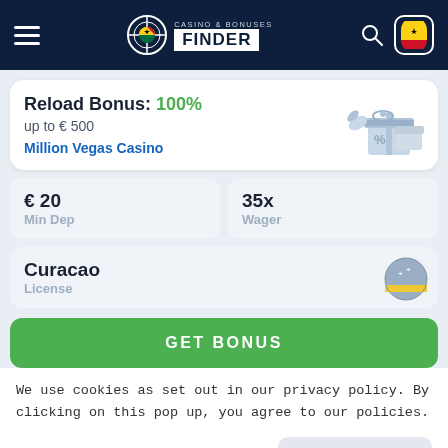[Figure (logo): Casino & Bonuses Finder website header with hamburger menu, logo (target icon with Ghana flag colors), search icon, and Ghana flag button on dark navy background]
Reload Bonus: 100% up to € 500
Million Vegas Casino
€ 20 Min Dep
35x Wager
Curacao License
GET BONUS
We use cookies as set out in our privacy policy. By clicking on this pop up, you agree to our policies.
Read the privacy policy
It's OK For Me